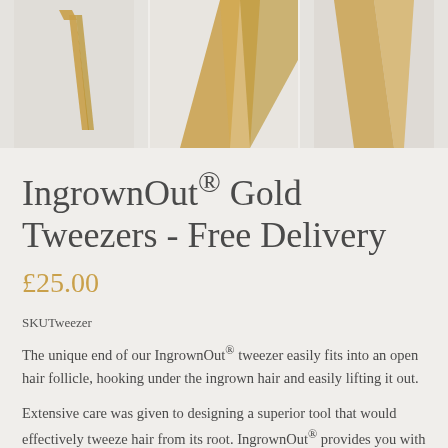[Figure (photo): Three-panel product image strip showing gold IngrownOut tweezers from different angles against a light background]
IngrownOut® Gold Tweezers - Free Delivery
£25.00
SKUTweezer
The unique end of our IngrownOut® tweezer easily fits into an open hair follicle, hooking under the ingrown hair and easily lifting it out.
Extensive care was given to designing a superior tool that would effectively tweeze hair from its root. IngrownOut® provides you with an all-in-one tweezer experience!